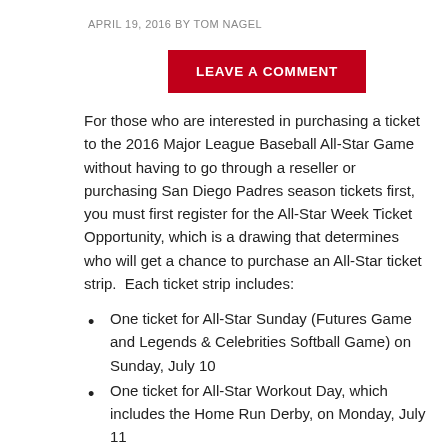APRIL 19, 2016 BY TOM NAGEL
LEAVE A COMMENT
For those who are interested in purchasing a ticket to the 2016 Major League Baseball All-Star Game without having to go through a reseller or purchasing San Diego Padres season tickets first, you must first register for the All-Star Week Ticket Opportunity, which is a drawing that determines who will get a chance to purchase an All-Star ticket strip. Each ticket strip includes:
One ticket for All-Star Sunday (Futures Game and Legends & Celebrities Softball Game) on Sunday, July 10
One ticket for All-Star Workout Day, which includes the Home Run Derby, on Monday, July 11
One ticket for the All-Star Game on Tuesday, July 12
Two tickets for the All-Star FanFest, held at the San Diego Convention Center Friday, July 8 through